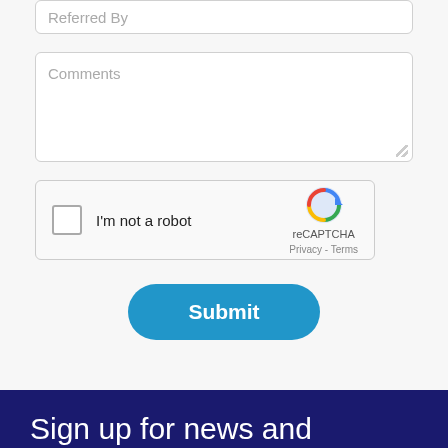Referred By
Comments
[Figure (other): reCAPTCHA widget with checkbox labeled 'I'm not a robot', reCAPTCHA logo, Privacy and Terms links]
Submit
Sign up for news and updates
Email
First name